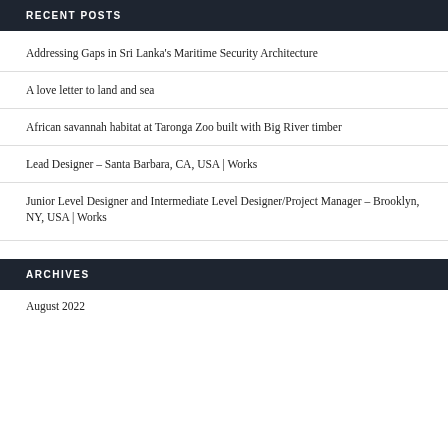RECENT POSTS
Addressing Gaps in Sri Lanka's Maritime Security Architecture
A love letter to land and sea
African savannah habitat at Taronga Zoo built with Big River timber
Lead Designer – Santa Barbara, CA, USA | Works
Junior Level Designer and Intermediate Level Designer/Project Manager – Brooklyn, NY, USA | Works
ARCHIVES
August 2022